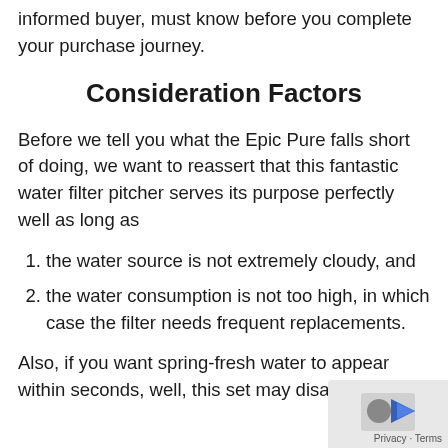informed buyer, must know before you complete your purchase journey.
Consideration Factors
Before we tell you what the Epic Pure falls short of doing, we want to reassert that this fantastic water filter pitcher serves its purpose perfectly well as long as
the water source is not extremely cloudy, and
the water consumption is not too high, in which case the filter needs frequent replacements.
Also, if you want spring-fresh water to appear within seconds, well, this set may disappoint